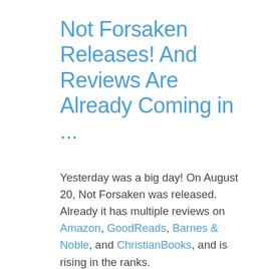Not Forsaken Releases! And Reviews Are Already Coming in ...
Yesterday was a big day! On August 20, Not Forsaken was released. Already it has multiple reviews on Amazon, GoodReads, Barnes & Noble, and ChristianBooks, and is rising in the ranks.